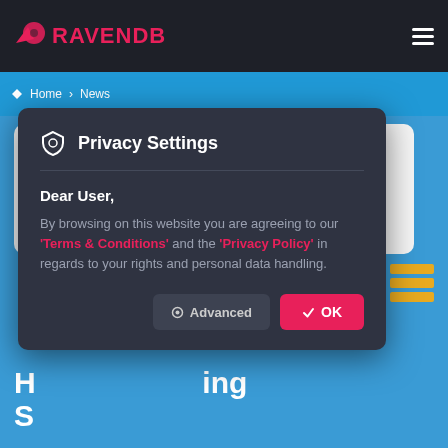RAVENDB
Home › News
[Figure (screenshot): Partial white card background behind privacy modal]
Privacy Settings
Dear User,
By browsing on this website you are agreeing to our 'Terms & Conditions' and the 'Privacy Policy' in regards to your rights and personal data handling.
Advanced
OK
H... S... ing
by
PUBLISHED: JUNE 7, 2022 | UPDATED: JULY 4, 2022